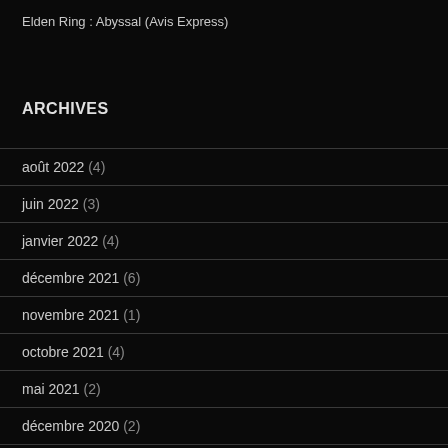Elden Ring : Abyssal (Avis Express)
ARCHIVES
août 2022 (4)
juin 2022 (3)
janvier 2022 (4)
décembre 2021 (6)
novembre 2021 (1)
octobre 2021 (4)
mai 2021 (2)
décembre 2020 (2)
novembre 2020 (2)